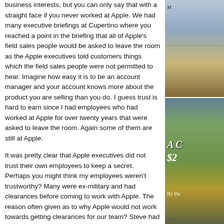business interests, but you can only say that with a straight face if you never worked at Apple. We had many executive briefings at Cupertino where you reached a point in the briefing that all of Apple's field sales people would be asked to leave the room as the Apple executives told customers things which the field sales people were not permitted to hear. Imagine how easy it is to be an account manager and your account knows more about the product you are selling than you do. I guess trust is hard to earn since I had employees who had worked at Apple for over twenty years that were asked to leave the room. Again some of them are still at Apple.
It was pretty clear that Apple executives did not trust their own employees to keep a secret. Perhaps you might think my employees weren't trustworthy? Many were ex-military and had clearances before coming to work with Apple. The reason often given as to why Apple would not work towards getting clearances for our team? Steve had some questions that he did not want asked. That's fine also but we were tasked with selling to the federal government and often it felt like we had one or both arms tied behind our backs.
I also knew some of the folks in Apple's security organization who were tasked with tracking leaks at Apple. All emails were fair game. We always assumed that Apple read every email
[Figure (photo): Sidebar top image: partial book cover or photo with coastal/beach scene, italic text visible at top left]
[Figure (photo): Sidebar bottom image: book cover with outdoor/landscape scene, large italic text 'A C' and '$2' visible, author name partially visible 'By Da', footer text 'Index f']